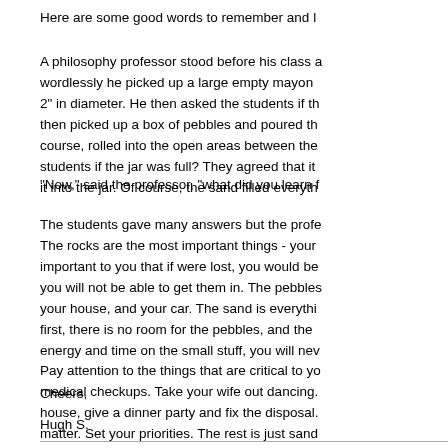Here are some good words to remember and l
A philosophy professor stood before his class a wordlessly he picked up a large empty mayon 2" in diameter. He then asked the students if th then picked up a box of pebbles and poured th course, rolled into the open areas between the students if the jar was full? They agreed that it it into the jar. Of course, the sand filled everyth
"Now," said the professor, "what did you learn f
The students gave many answers but the profe The rocks are the most important things - your important to you that if were lost, you would be you will not be able to get them in. The pebbles your house, and your car. The sand is everythi first, there is no room for the pebbles, and the energy and time on the small stuff, you will nev Pay attention to the things that are critical to yo medical checkups. Take your wife out dancing. house, give a dinner party and fix the disposal. matter. Set your priorities. The rest is just sand
Cheers,
Hugh S.